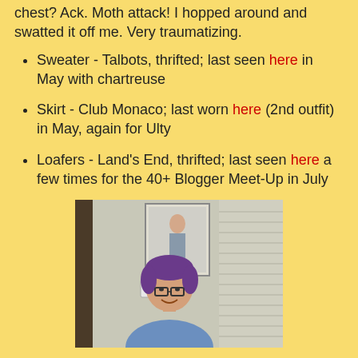chest? Ack. Moth attack! I hopped around and swatted it off me. Very traumatizing.
Sweater - Talbots, thrifted; last seen here in May with chartreuse
Skirt - Club Monaco; last worn here (2nd outfit) in May, again for Ulty
Loafers - Land's End, thrifted; last seen here a few times for the 40+ Blogger Meet-Up in July
[Figure (photo): A woman with short purple hair and glasses, smiling, wearing a blue top, standing in a room with a framed picture and blinds in the background.]